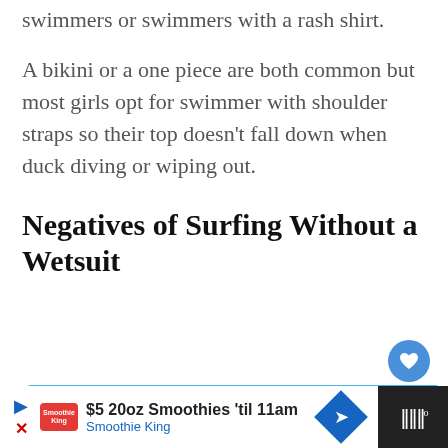swimmers or swimmers with a rash shirt.
A bikini or a one piece are both common but most girls opt for swimmer with shoulder straps so their top doesn't fall down when duck diving or wiping out.
Negatives of Surfing Without a Wetsuit
[Figure (photo): Aerial or wide view of ocean/beach with blue sky and white clouds, water visible at lower section]
WHAT'S NEXT → Why Are Cooler Lids...
$5 20oz Smoothies 'til 11am
Smoothie King